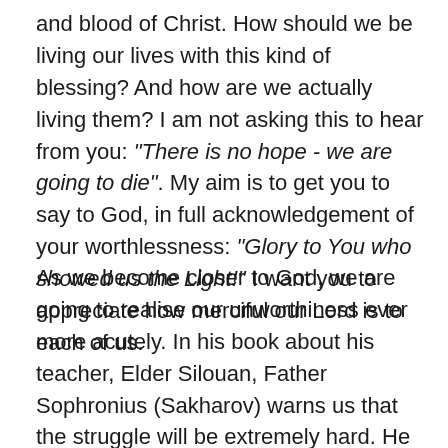and blood of Christ. How should we be living our lives with this kind of blessing? And how are we actually living them? I am not asking this to hear from you: "There is no hope - we are going to die". My aim is to get you to say to God, in full acknowledgement of your worthlessness: "Glory to You who showed us the Light!" I want you to appreciate how merciful our Lord is to each of us.
As we become closer to God, we are going to realise our unworthiness ever more acutely. In his book about his teacher, Elder Silouan, Father Sophronius (Sakharov) warns us that the struggle will be extremely hard. He wrote that after twenty years of testing the limits of his ascetic virtues, of sleepless nights spent in prayer and hard work, the